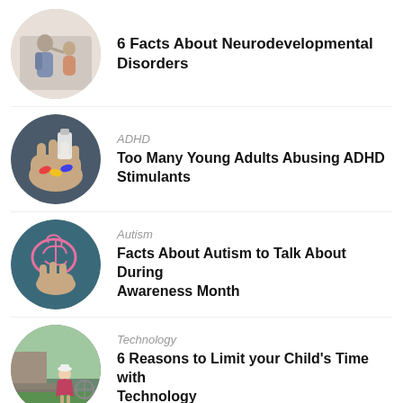[Figure (photo): Circular photo of adult and child giving a high five indoors]
6 Facts About Neurodevelopmental Disorders
[Figure (photo): Circular photo of a hand holding colorful pills]
ADHD
Too Many Young Adults Abusing ADHD Stimulants
[Figure (photo): Circular photo of a pink chalk brain drawing on pavement with a hand]
Autism
Facts About Autism to Talk About During Awareness Month
[Figure (photo): Circular photo of a young child in a summer outfit walking outdoors]
Technology
6 Reasons to Limit your Child's Time with Technology